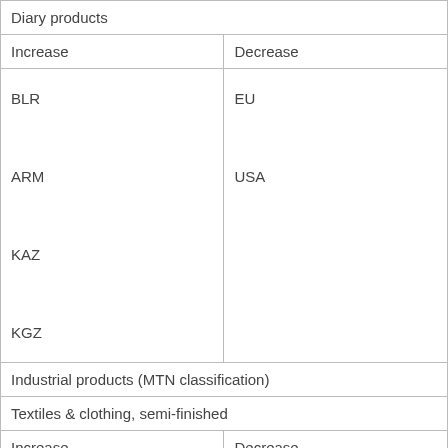| Diary products |  |  |
| Increase | Decrease |  |
| BLR

ARM

KAZ

KGZ | EU

USA |  |
| Industrial products (MTN classification) |  |  |
| Textiles & clothing, semi-finished | Textiles & clothing… |
| Increase | Decrease | Increase |
|  |  | ARM |